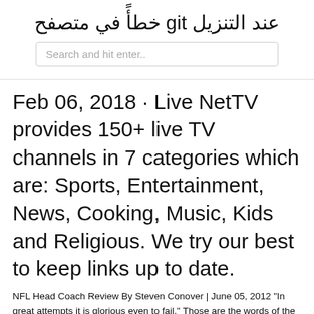عند التنزيل git خطأً في متصفح
Search and hit enter..
Feb 06, 2018 · Live NetTV provides 150+ live TV channels in 7 categories which are: Sports, Entertainment, News, Cooking, Music, Kids and Religious. We try our best to keep links up to date.
NFL Head Coach Review By Steven Conover | June 05, 2012 "In great attempts it is glorious even to fail." Those are the words of the immortal Vince Lombardi, and though they were said years ago, they apply today to NFL Head Coach, a new kind of football game that EA had hoped would capture the life and work of today's professional coaches. And in bringing to life the first-ever "football role Everything you need to win— all bundled into a revolutionary desktop app powered by AI, and built with professional players. To install and start using Mine